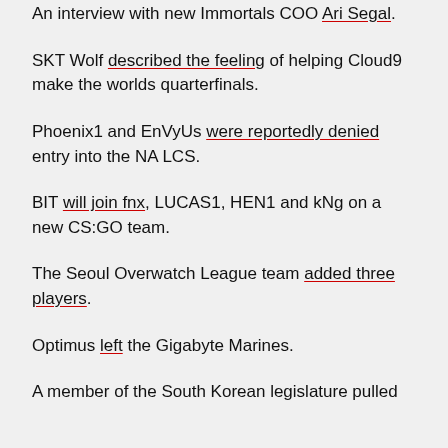An interview with new Immortals COO Ari Segal.
SKT Wolf described the feeling of helping Cloud9 make the worlds quarterfinals.
Phoenix1 and EnVyUs were reportedly denied entry into the NA LCS.
BIT will join fnx, LUCAS1, HEN1 and kNg on a new CS:GO team.
The Seoul Overwatch League team added three players.
Optimus left the Gigabyte Marines.
A member of the South Korean legislature pulled